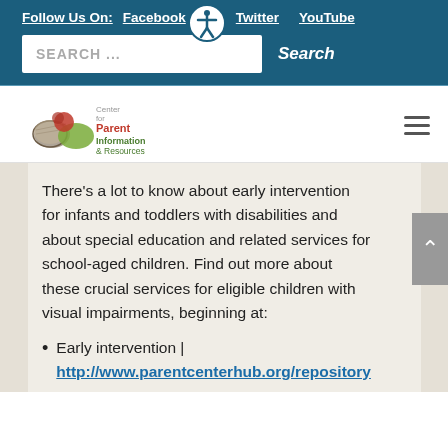Follow Us On: Facebook Twitter YouTube
[Figure (logo): Center for Parent Information and Resources logo with two hands and text]
There’s a lot to know about early intervention for infants and toddlers with disabilities and about special education and related services for school-aged children. Find out more about these crucial services for eligible children with visual impairments, beginning at:
Early intervention | http://www.parentcenterhub.org/repository